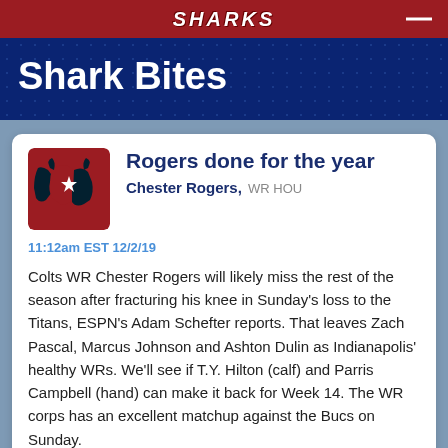SHARKS
Shark Bites
Rogers done for the year
Chester Rogers, WR HOU
11:12am EST 12/2/19
Colts WR Chester Rogers will likely miss the rest of the season after fracturing his knee in Sunday's loss to the Titans, ESPN's Adam Schefter reports. That leaves Zach Pascal, Marcus Johnson and Ashton Dulin as Indianapolis' healthy WRs. We'll see if T.Y. Hilton (calf) and Parris Campbell (hand) can make it back for Week 14. The WR corps has an excellent matchup against the Bucs on Sunday.